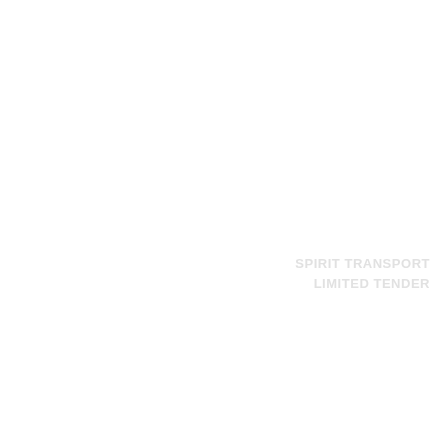SPIRIT TRANSPORT
LIMITED TENDER